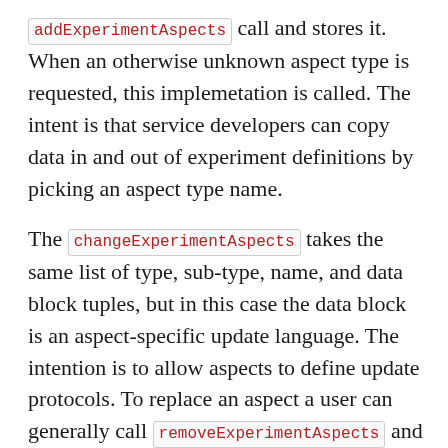addExperimentAspects call and stores it. When an otherwise unknown aspect type is requested, this implemetation is called. The intent is that service developers can copy data in and out of experiment definitions by picking an aspect type name.
The changeExperimentAspects takes the same list of type, sub-type, name, and data block tuples, but in this case the data block is an aspect-specific update language. The intention is to allow aspects to define update protocols. To replace an aspect a user can generally call removeExperimentAspects and then addExperimentAspects to replace the removed aspects. The layout aspect